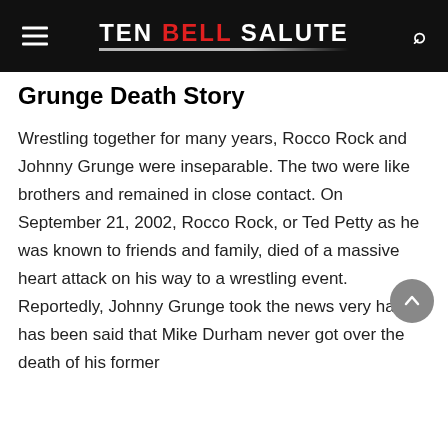TEN BELL SALUTE
Grunge Death Story
Wrestling together for many years, Rocco Rock and Johnny Grunge were inseparable. The two were like brothers and remained in close contact. On September 21, 2002, Rocco Rock, or Ted Petty as he was known to friends and family, died of a massive heart attack on his way to a wrestling event. Reportedly, Johnny Grunge took the news very hard. It has been said that Mike Durham never got over the death of his former